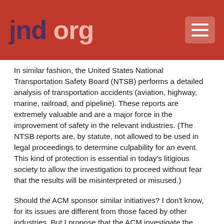jnd.org
In similar fashion, the United States National Transportation Safety Board (NTSB) performs a detailed analysis of transportation accidents (aviation, highway, marine, railroad, and pipeline). These reports are extremely valuable and are a major force in the improvement of safety in the relevant industries. (The NTSB reports are, by statute, not allowed to be used in legal proceedings to determine culpability for an event. This kind of protection is essential in today's litigious society to allow the investigation to proceed without fear that the results will be misinterpreted or misused.)
Should the ACM sponsor similar initiatives? I don't know, for its issues are different from those faced by other industries. But I propose that the ACM investigate the possible ways of improving this part of the profession. The ACM could take the lead in establishing some positive, constructive actions to elevate the human side